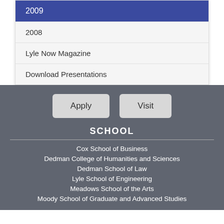2009
2008
Lyle Now Magazine
Download Presentations
Apply
Visit
SCHOOL
Cox School of Business
Dedman College of Humanities and Sciences
Dedman School of Law
Lyle School of Engineering
Meadows School of the Arts
Moody School of Graduate and Advanced Studies